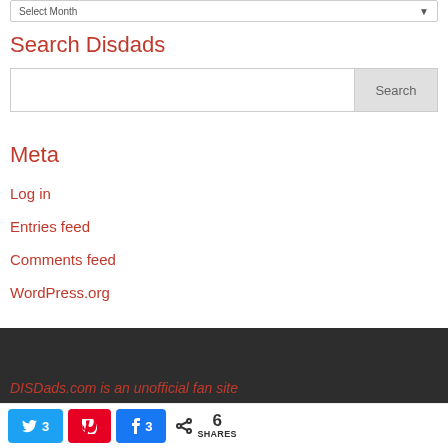Search Disdads
Meta
Log in
Entries feed
Comments feed
WordPress.org
DISDads.com is an unofficial fan site
3  [Twitter share button]  [Pinterest button]  3 [Facebook share button]  6 SHARES